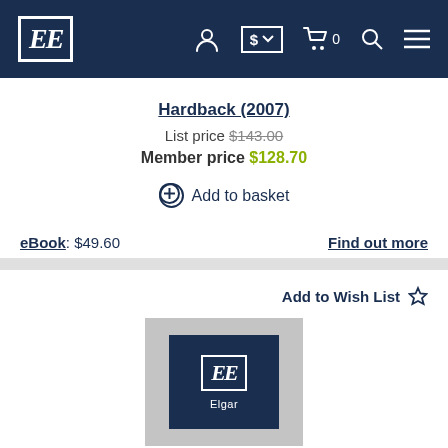[Figure (logo): Edward Elgar Publishing EE logo in white on navy navbar]
Hardback (2007)
List price $143.00
Member price $128.70
Add to basket
eBook: $49.60
Find out more
Add to Wish List
[Figure (logo): Edward Elgar Publishing EE logo with Elgar text on navy background, book cover placeholder]